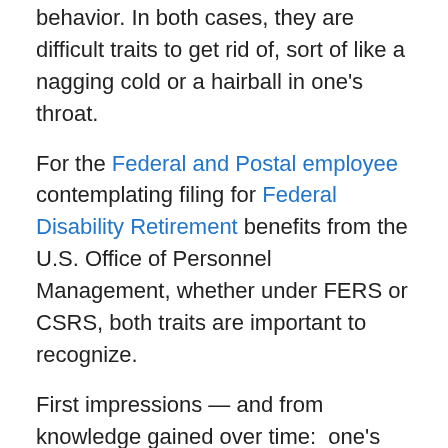behavior.  In both cases, they are difficult traits to get rid of, sort of like a nagging cold or a hairball in one's throat.
For the Federal and Postal employee contemplating filing for Federal Disability Retirement benefits from the U.S. Office of Personnel Management, whether under FERS or CSRS, both traits are important to recognize.
First impressions — and from knowledge gained over time:  one's agency; how will one's supervisor act or react; one's treating doctor; the extent of support one will receive; they will be the initiating basis and foundation in determining whether to go forward or not.
Tendencies — one's own; is procrastination a problem?  Is avoidance an issue, such that it is best to jump into the process, knowing that delay is an identified enemy of one's own best interests?